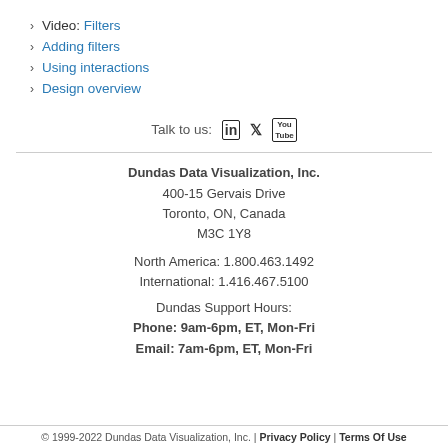Video: Filters
Adding filters
Using interactions
Design overview
Talk to us: [LinkedIn] [Twitter] [YouTube]
Dundas Data Visualization, Inc.
400-15 Gervais Drive
Toronto, ON, Canada
M3C 1Y8

North America: 1.800.463.1492
International: 1.416.467.5100

Dundas Support Hours:
Phone: 9am-6pm, ET, Mon-Fri
Email: 7am-6pm, ET, Mon-Fri
© 1999-2022 Dundas Data Visualization, Inc. | Privacy Policy | Terms Of Use